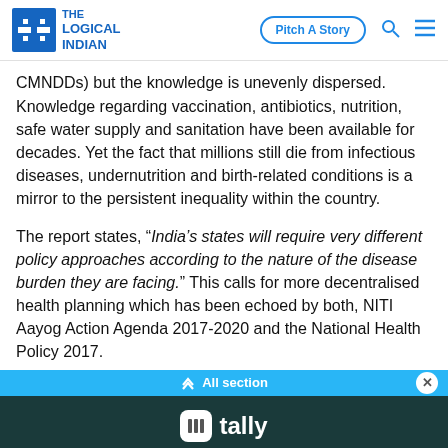THE LOGICAL INDIAN — Pitch A Story
CMNDDs) but the knowledge is unevenly dispersed. Knowledge regarding vaccination, antibiotics, nutrition, safe water supply and sanitation have been available for decades. Yet the fact that millions still die from infectious diseases, undernutrition and birth-related conditions is a mirror to the persistent inequality within the country.
The report states, "India's states will require very different policy approaches according to the nature of the disease burden they are facing." This calls for more decentralised health planning which has been echoed by both, NITI Aayog Action Agenda 2017-2020 and the National Health Policy 2017.
[Figure (screenshot): Blue navigation bar with 'All section' text and a close (X) button]
[Figure (logo): Tally advertisement banner on dark teal background with Tally logo and text]